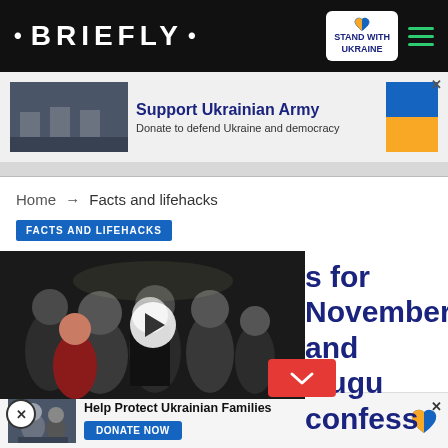· BRIEFLY ·
[Figure (screenshot): Advertisement banner: Support Ukrainian Army — Donate to defend Ukraine and democracy, with Ukrainian soldiers image and Ukrainian flag colors]
Home → Facts and lifehacks
FACTS AND LIFEHACKS
[Figure (screenshot): Video overlay showing people at an awards ceremony with a play button, partially covering a headline that reads '...s for November ...and Gugu confess']
[Figure (screenshot): Bottom advertisement: Help Protect Ukrainian Families — DONATE NOW, with Ukrainian flag heart icon]